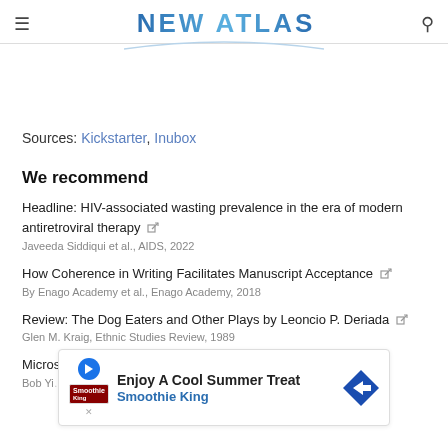NEW ATLAS
Sources: Kickstarter, Inubox
We recommend
Headline: HIV-associated wasting prevalence in the era of modern antiretroviral therapy
Javeeda Siddiqui et al., AIDS, 2022
How Coherence in Writing Facilitates Manuscript Acceptance
By Enago Academy et al., Enago Academy, 2018
Review: The Dog Eaters and Other Plays by Leoncio P. Deriada
Glen M. Kraig, Ethnic Studies Review, 1989
Microsoft ... ies
Bob Yi...
[Figure (other): Advertisement banner: Enjoy A Cool Summer Treat - Smoothie King]